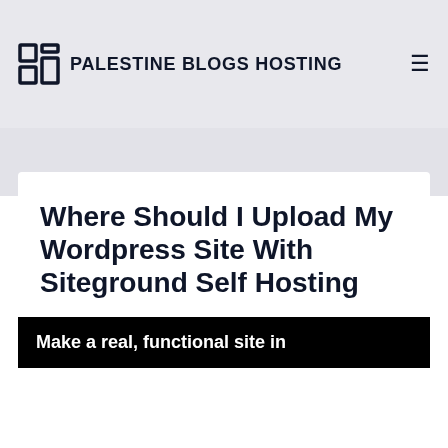PALESTINE BLOGS HOSTING
Where Should I Upload My Wordpress Site With Siteground Self Hosting
Make a real, functional site in